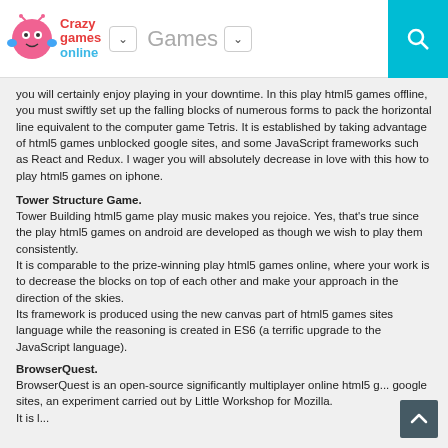Crazy Games Online | Games
you will certainly enjoy playing in your downtime. In this play html5 games offline, you must swiftly set up the falling blocks of numerous forms to pack the horizontal line equivalent to the computer game Tetris. It is established by taking advantage of html5 games unblocked google sites, and some JavaScript frameworks such as React and Redux. I wager you will absolutely decrease in love with this how to play html5 games on iphone.
Tower Structure Game.
Tower Building html5 game play music makes you rejoice. Yes, that's true since the play html5 games on android are developed as though we wish to play them consistently.
It is comparable to the prize-winning play html5 games online, where your work is to decrease the blocks on top of each other and make your approach in the direction of the skies.
Its framework is produced using the new canvas part of html5 games sites language while the reasoning is created in ES6 (a terrific upgrade to the JavaScript language).
BrowserQuest.
BrowserQuest is an open-source significantly multiplayer online html5 g... google sites, an experiment carried out by Little Workshop for Mozilla. It is l...